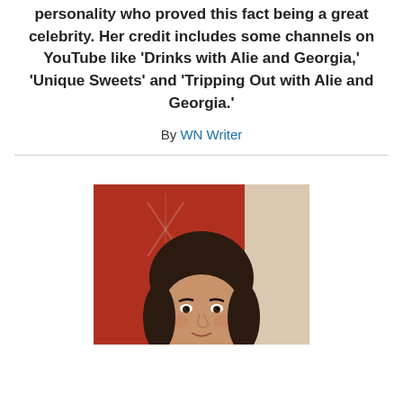personality who proved this fact being a great celebrity. Her credit includes some channels on YouTube like 'Drinks with Alie and Georgia,' 'Unique Sweets' and 'Tripping Out with Alie and Georgia.'
By WN Writer
[Figure (photo): Headshot of a woman with short dark brown hair and bangs, against a red and beige background]